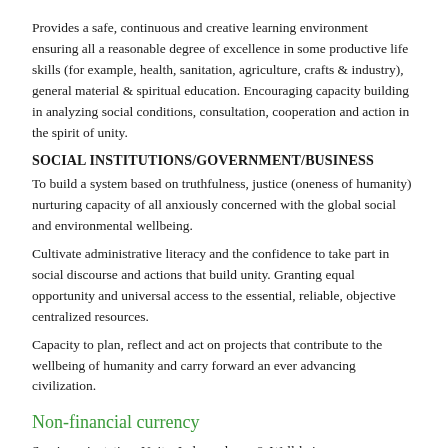Provides a safe, continuous and creative learning environment ensuring all a reasonable degree of excellence in some productive life skills (for example, health, sanitation, agriculture, crafts & industry), general material & spiritual education. Encouraging capacity building in analyzing social conditions, consultation, cooperation and action in the spirit of unity.
SOCIAL INSTITUTIONS/GOVERNMENT/BUSINESS
To build a system based on truthfulness, justice (oneness of humanity) nurturing capacity of all anxiously concerned with the global social and environmental wellbeing.
Cultivate administrative literacy and the confidence to take part in social discourse and actions that build unity. Granting equal opportunity and universal access to the essential, reliable, objective centralized resources.
Capacity to plan, reflect and act on projects that contribute to the wellbeing of humanity and carry forward an ever advancing civilization.
Non-financial currency
Service orientation, Unity, Independence & Well-being.